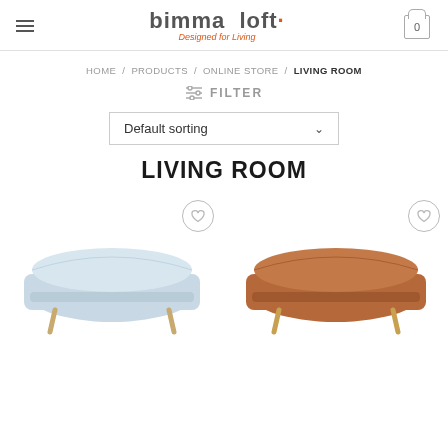bimma loft · Designed for Living | hamburger menu | cart 0
HOME / PRODUCTS / ONLINE STORE / LIVING ROOM
FILTER
Default sorting
LIVING ROOM
[Figure (photo): Light blue sofa with curved back and golden legs, with a heart/wishlist icon overlay]
[Figure (photo): Terracotta/brown velvet sofa with curved back and golden legs, with a heart/wishlist icon overlay]